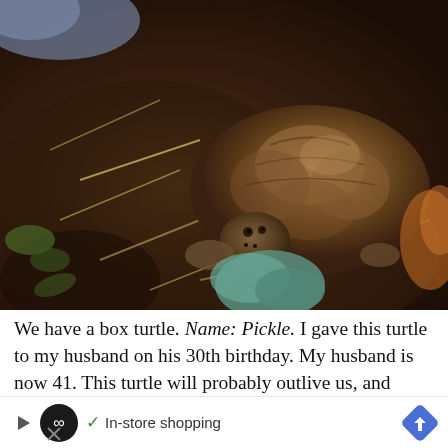[Figure (photo): A box turtle named Pickle sitting on dark soil/substrate with dry grass/hay. The turtle has a patterned brown shell with ridges. There are teal/green rocks visible in the foreground and some blue fabric in the upper left corner.]
We have a box turtle. Name: Pickle. I gave this turtle to my husband on his 30th birthday. My husband is now 41. This turtle will probably outlive us, and Scarlet is already talking about how for children will love him. H [ad overlay] In-store shopping